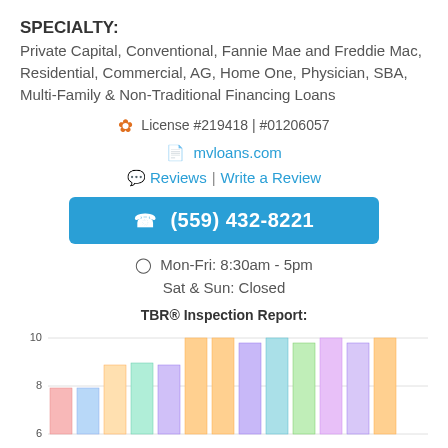SPECIALTY:
Private Capital, Conventional, Fannie Mae and Freddie Mac, Residential, Commercial, AG, Home One, Physician, SBA, Multi-Family & Non-Traditional Financing Loans
License #219418 | #01206057
mvloans.com
Reviews | Write a Review
(559) 432-8221
Mon-Fri: 8:30am - 5pm
Sat & Sun: Closed
TBR® Inspection Report:
[Figure (bar-chart): TBR® Inspection Report]